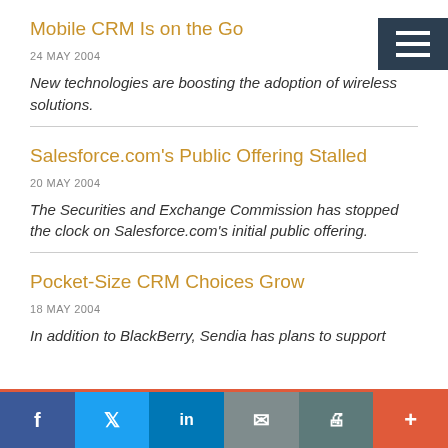Mobile CRM Is on the Go
24 MAY 2004
New technologies are boosting the adoption of wireless solutions.
Salesforce.com's Public Offering Stalled
20 MAY 2004
The Securities and Exchange Commission has stopped the clock on Salesforce.com's initial public offering.
Pocket-Size CRM Choices Grow
18 MAY 2004
In addition to BlackBerry, Sendia has plans to support